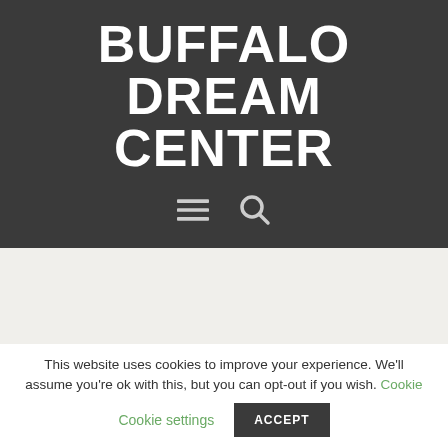BUFFALO DREAM CENTER
[Figure (screenshot): Navigation icons: hamburger menu and search icon in the dark header bar]
This website uses cookies to improve your experience. We'll assume you're ok with this, but you can opt-out if you wish. Cookie settings ACCEPT